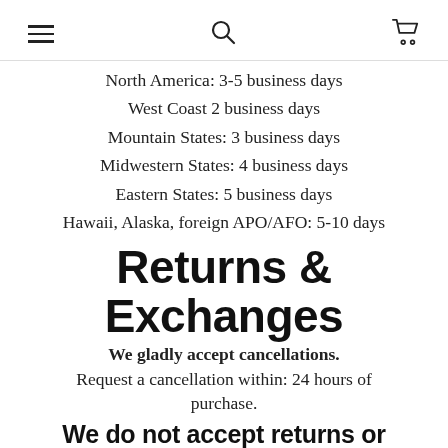[hamburger menu] [search icon] [cart icon]
North America: 3-5 business days
West Coast 2 business days
Mountain States:  3 business days
Midwestern States: 4 business days
Eastern States:  5 business days
Hawaii, Alaska, foreign APO/AFO:  5-10 days
Returns & Exchanges
We gladly accept cancellations.
Request a cancellation within: 24 hours of purchase.
We do not accept returns or exchanges